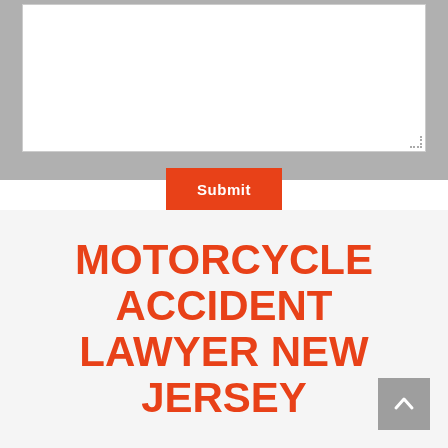[Figure (screenshot): A web form textarea input field with a gray background section, showing a white empty text box with a resize handle in the bottom-right corner, and an orange Submit button below it.]
MOTORCYCLE ACCIDENT LAWYER NEW JERSEY